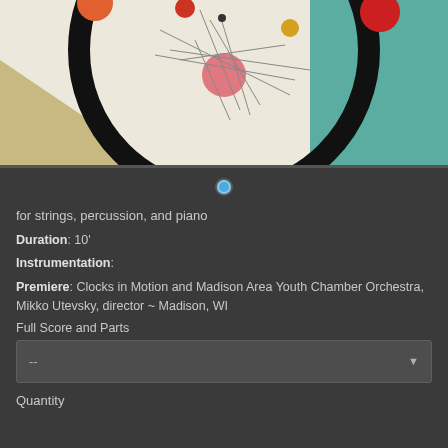[Figure (illustration): Abstract artwork showing a large black circle with geometric shapes, colored circles (orange, pink, yellow, red), and intersecting thin lines on a cream/beige background with teal and tan angular shapes in corners]
for strings, percussion, and piano
Duration: 10'
Instrumentation:
Premiere: Clocks in Motion and Madison Area Youth Chamber Orchestra, Mikko Utevsky, director ~ Madison, WI
Full Score and Parts
Quantity